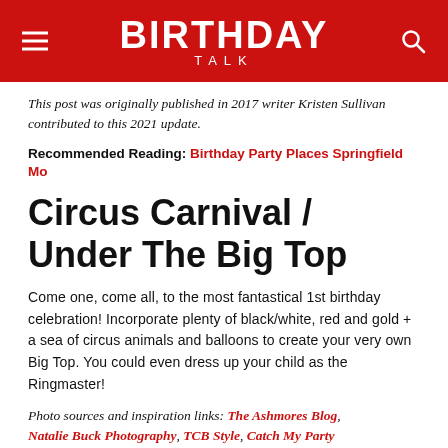BIRTHDAY TALK
This post was originally published in 2017 writer Kristen Sullivan contributed to this 2021 update.
Recommended Reading: Birthday Party Places Springfield Mo
Circus Carnival / Under The Big Top
Come one, come all, to the most fantastical 1st birthday celebration! Incorporate plenty of black/white, red and gold + a sea of circus animals and balloons to create your very own Big Top. You could even dress up your child as the Ringmaster!
Photo sources and inspiration links: The Ashmores Blog, Natalie Buck Photography, TCB Style, Catch My Party